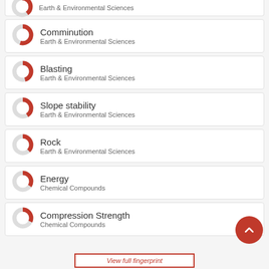Earth & Environmental Sciences (partial, top)
Comminution — Earth & Environmental Sciences
Blasting — Earth & Environmental Sciences
Slope stability — Earth & Environmental Sciences
Rock — Earth & Environmental Sciences
Energy — Chemical Compounds
Compression Strength — Chemical Compounds
View full fingerprint